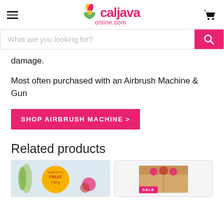[Figure (logo): Caljava online.com logo with flower/leaf graphic]
[Figure (screenshot): Search bar with placeholder 'What are you looking for?' and pink search button]
damage.
Most often purchased with an Airbrush Machine & Gun
SHOP AIRBRUSH MACHINE >
Related products
[Figure (photo): Product image showing SoFIFTY Fruit Filling package with tropical fruit]
[Figure (photo): Product image showing a box with SALE badge, roses visible]